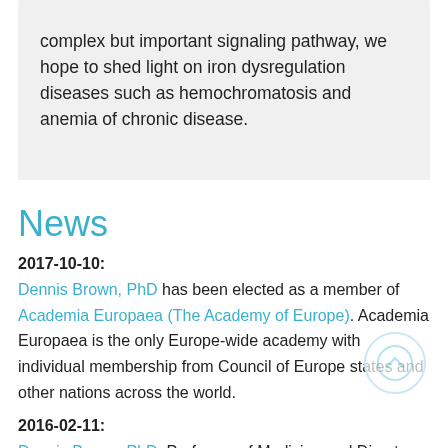complex but important signaling pathway, we hope to shed light on iron dysregulation diseases such as hemochromatosis and anemia of chronic disease.
News
2017-10-10: Dennis Brown, PhD has been elected as a member of Academia Europaea (The Academy of Europe). Academia Europaea is the only Europe-wide academy with individual membership from Council of Europe states and other nations across the world.
2016-02-11: Dennis Brown, PhD, Professor of Medicine and Director of the MGH Program in Membrane Biology, part of the Division of Nephrology and the Center for Systems Biology, was elected by